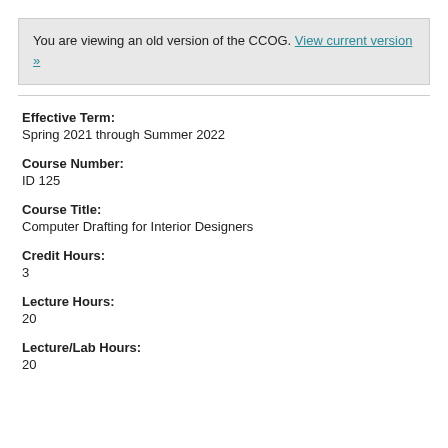You are viewing an old version of the CCOG. View current version »
Effective Term:
Spring 2021 through Summer 2022
Course Number:
ID 125
Course Title:
Computer Drafting for Interior Designers
Credit Hours:
3
Lecture Hours:
20
Lecture/Lab Hours:
20